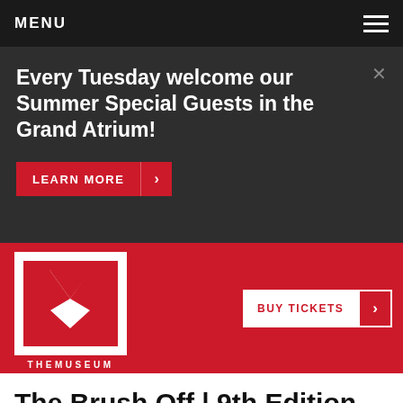MENU
Every Tuesday welcome our Summer Special Guests in the Grand Atrium!
LEARN MORE
[Figure (logo): THEMUSEUM logo — white M letterform on white background square, with THEMUSEUM text beneath, on red background]
BUY TICKETS
The Brush Off | 9th Edition